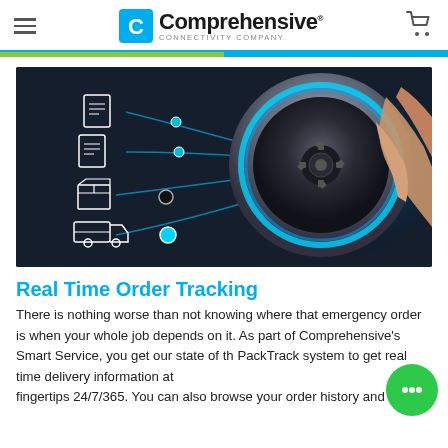Comprehensive — Connectivity Company
[Figure (photo): Close-up photo of a hand turning a metallic dial/knob with a gear icon and blue LED glow, with connected icons of documents, a box, and a delivery truck on the left side, suggesting smart order tracking technology]
Real Time Order Tracking
There is nothing worse than not knowing where that emergency order is when your whole job depends on it. As part of Comprehensive's Smart Service, you get our state of the PackTrack system to get real time delivery information at your fingertips 24/7/365. You can also browse your order history and